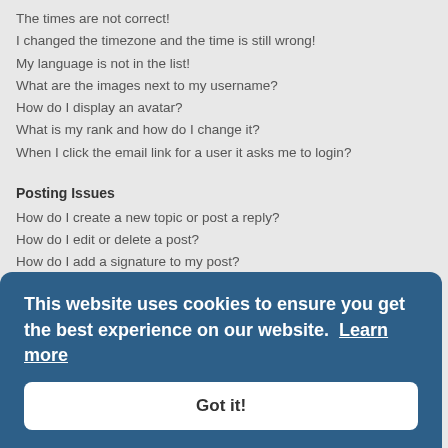The times are not correct!
I changed the timezone and the time is still wrong!
My language is not in the list!
What are the images next to my username?
How do I display an avatar?
What is my rank and how do I change it?
When I click the email link for a user it asks me to login?
Posting Issues
How do I create a new topic or post a reply?
How do I edit or delete a post?
How do I add a signature to my post?
How do I create a poll?
Why can't I add more poll options?
How do I edit or delete a poll?
Why can't I access a forum?
Why can't I add attachments?
Why did I receive a warning?
How can I report posts to a moderator?
What is the "Save" button for in topic posting?
Why does my post need to be approved?
How do I bump my topic?
Formatting and Topic Types
What is BBCode?
Can I use HTML?
This website uses cookies to ensure you get the best experience on our website. Learn more
Got it!